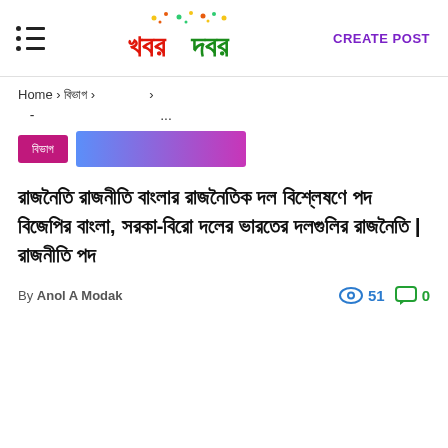খবরদবর — CREATE POST
Home › বিভাগ ›  ›
- ...
বিভাগ  [category buttons]
রাজনৈতি রাজনীতি বাংলার রাজনৈতিক দল বিশ্লেষণে পদ বিজেপির বাংলা, সরকা-বিরো দলের ভারতের দলগুলির রাজনৈতি | রাজনীতি পদ
By Anol A Modak
👁 51  💬 0